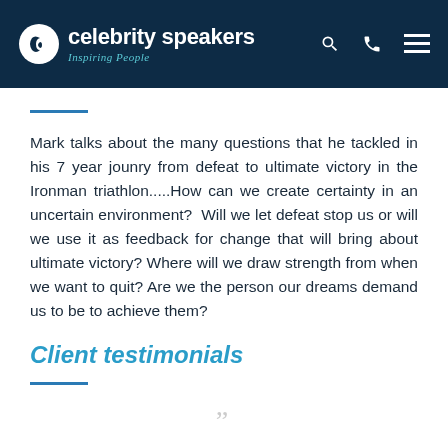celebrity speakers — Inspiring People
Mark talks about the many questions that he tackled in his 7 year jounry from defeat to ultimate victory in the Ironman triathlon.....How can we create certainty in an uncertain environment?  Will we let defeat stop us or will we use it as feedback for change that will bring about ultimate victory? Where will we draw strength from when we want to quit? Are we the person our dreams demand us to be to achieve them?
Client testimonials